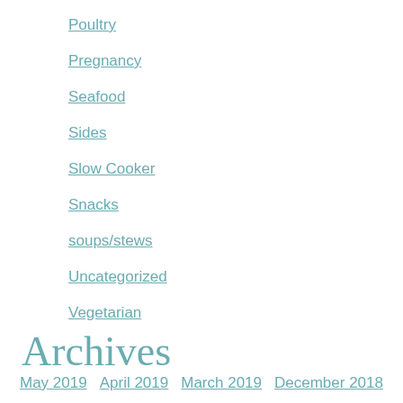Poultry
Pregnancy
Seafood
Sides
Slow Cooker
Snacks
soups/stews
Uncategorized
Vegetarian
Archives
May 2019   April 2019   March 2019   December 2018